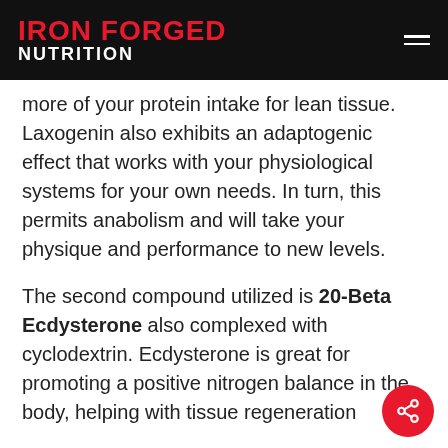IRON FORGED NUTRITION
more of your protein intake for lean tissue. Laxogenin also exhibits an adaptogenic effect that works with your physiological systems for your own needs. In turn, this permits anabolism and will take your physique and performance to new levels.
The second compound utilized is 20-Beta Ecdysterone also complexed with cyclodextrin. Ecdysterone is great for promoting a positive nitrogen balance in the body, helping with tissue regeneration